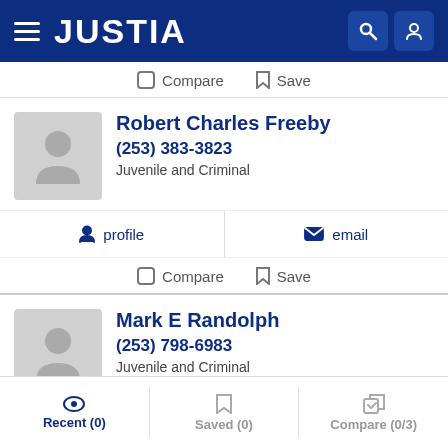JUSTIA
Compare  Save
Robert Charles Freeby
(253) 383-3823
Juvenile and Criminal
profile   email
Compare  Save
Mark E Randolph
(253) 798-6983
Juvenile and Criminal
Recent (0)   Saved (0)   Compare (0/3)